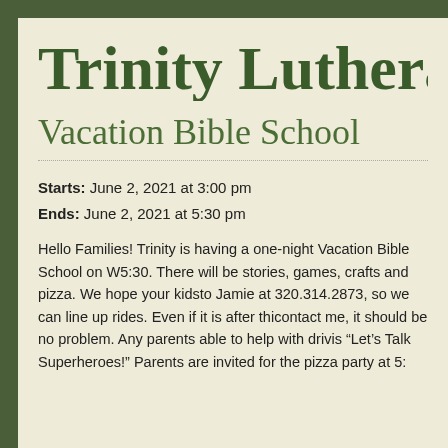Trinity Lutheran
Vacation Bible School
Starts: June 2, 2021 at 3:00 pm
Ends: June 2, 2021 at 5:30 pm
Hello Families! Trinity is having a one-night Vacation Bible School on W... 5:30. There will be stories, games, crafts and pizza. We hope your kids... to Jamie at 320.314.2873, so we can line up rides. Even if it is after thi... contact me, it should be no problem. Any parents able to help with driv... is “Let’s Talk Superheroes!” Parents are invited for the pizza party at 5:...